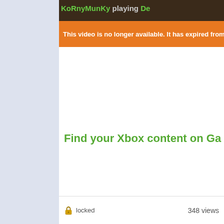KoRnyMunKy playing De...
This video is no longer available. It has expired from Xbox Live...
Find your Xbox content on Ga...
locked
348 views